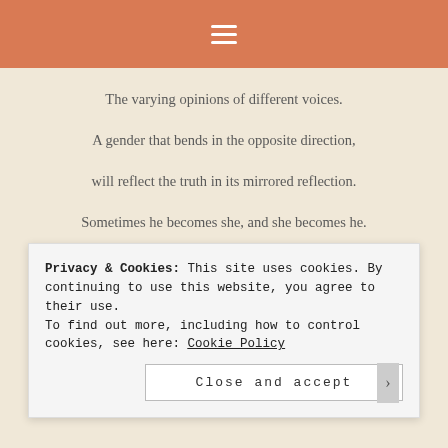≡
The varying opinions of different voices.
A gender that bends in the opposite direction,
will reflect the truth in its mirrored reflection.
Sometimes he becomes she, and she becomes he.
Who is anyone to say that it shouldn't be?
The negative influence of unkind words,
Privacy & Cookies: This site uses cookies. By continuing to use this website, you agree to their use.
To find out more, including how to control cookies, see here: Cookie Policy
Close and accept